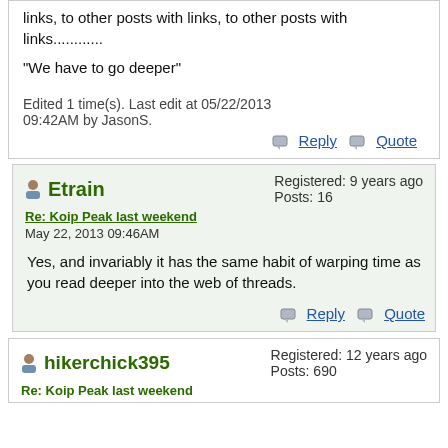links, to other posts with links, to other posts with links...........
"We have to go deeper"
Edited 1 time(s). Last edit at 05/22/2013 09:42AM by JasonS.
Etrain
Registered: 9 years ago
Posts: 16
Re: Koip Peak last weekend
May 22, 2013 09:46AM
Yes, and invariably it has the same habit of warping time as you read deeper into the web of threads.
hikerchick395
Registered: 12 years ago
Posts: 690
Re: Koip Peak last weekend